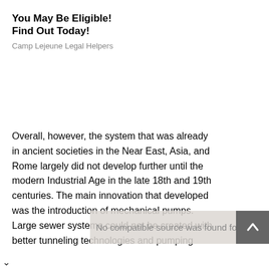You May Be Eligible! Find Out Today!
Camp Lejeune Legal Helpers
Overall, however, the system that was already in ancient societies in the Near East, Asia, and Rome largely did not develop further until the modern Industrial Age in the late 18th and 19th centuries. The main innovation that developed was the introduction of mechanical pumps. Large sewer systems could not be created with better tunneling technologies and pumping